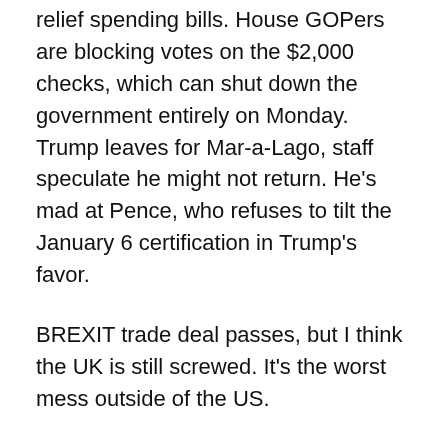relief spending bills. House GOPers are blocking votes on the $2,000 checks, which can shut down the government entirely on Monday. Trump leaves for Mar-a-Lago, staff speculate he might not return. He's mad at Pence, who refuses to tilt the January 6 certification in Trump's favor.
BREXIT trade deal passes, but I think the UK is still screwed. It's the worst mess outside of the US.
This weekend's projects include a very overdue Crow Cap, a blue silk Venetian, Charlie's prototypes, and the third piece of Kate's new ensemble. And probably some writing as I expect to get very little sleep from the activity of the Roman Legion and their herd of dogs as they embark on campaign upstairs. Another wave of depression hits, so I shut off the news, read some magazines, pour a drink and cuddle the cats. I find